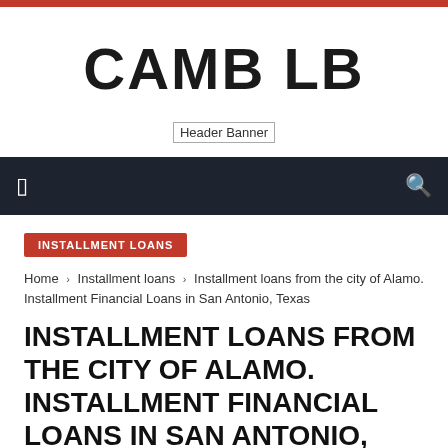CAMB LB
[Figure (other): Header Banner image placeholder]
navigation bar with menu icon and search icon
INSTALLMENT LOANS
Home › Installment loans › Installment loans from the city of Alamo. Installment Financial Loans in San Antonio, Texas
INSTALLMENT LOANS FROM THE CITY OF ALAMO. INSTALLMENT FINANCIAL LOANS IN SAN ANTONIO, TEXAS